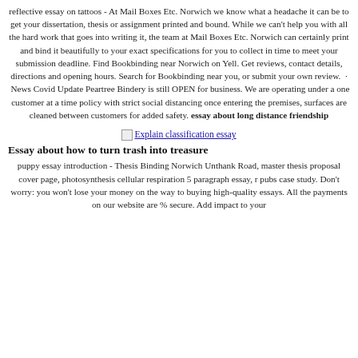reflective essay on tattoos - At Mail Boxes Etc. Norwich we know what a headache it can be to get your dissertation, thesis or assignment printed and bound. While we can't help you with all the hard work that goes into writing it, the team at Mail Boxes Etc. Norwich can certainly print and bind it beautifully to your exact specifications for you to collect in time to meet your submission deadline. Find Bookbinding near Norwich on Yell. Get reviews, contact details, directions and opening hours. Search for Bookbinding near you, or submit your own review.  ·  News Covid Update Peartree Bindery is still OPEN for business. We are operating under a one customer at a time policy with strict social distancing once entering the premises, surfaces are cleaned between customers for added safety. essay about long distance friendship
[Figure (other): Small broken image icon linked to 'Explain classification essay']
Essay about how to turn trash into treasure
puppy essay introduction - Thesis Binding Norwich Unthank Road, master thesis proposal cover page, photosynthesis cellular respiration 5 paragraph essay, r pubs case study. Don't worry: you won't lose your money on the way to buying high-quality essays. All the payments on our website are % secure. Add impact to your